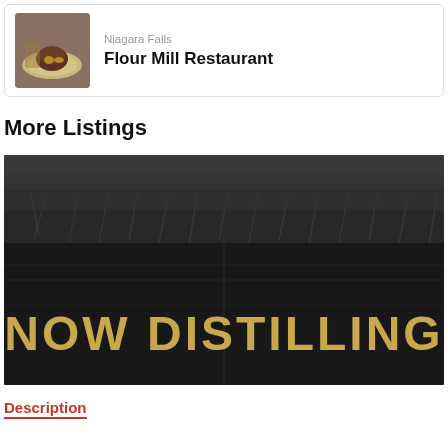Niagara Falls
Flour Mill Restaurant
More Listings
[Figure (photo): Black and white photo of dark wood barrel planks with grain/chaff on top, with large golden text 'NOW DISTILLING' overlaid on the wood]
Description